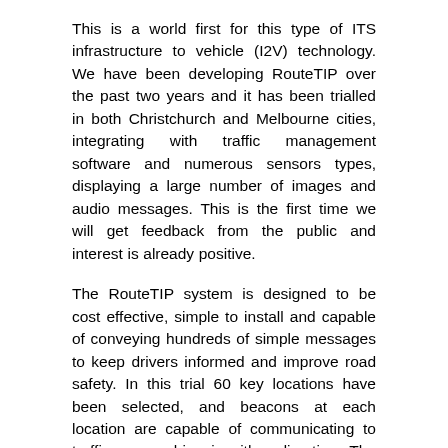This is a world first for this type of ITS infrastructure to vehicle (I2V) technology. We have been developing RouteTIP over the past two years and it has been trialled in both Christchurch and Melbourne cities, integrating with traffic management software and numerous sensors types, displaying a large number of images and audio messages. This is the first time we will get feedback from the public and interest is already positive.
The RouteTIP system is designed to be cost effective, simple to install and capable of conveying hundreds of simple messages to keep drivers informed and improve road safety. In this trial 60 key locations have been selected, and beacons at each location are capable of communicating to traffic approaching in either direction. The cost benefits from the system are in reducing the economic cost of traffic accidents and tragedy of associated injuries and fatalities, while also offering a new option could reduce ITS infrastructure costs.
The concise audio messages conveyed by RouteTIP include journey time information, alerts about road conditions and also reminders to take driver rest breaks. The route where the trial takes place involves several state highways which include highways, motorways which will experience poor road in...